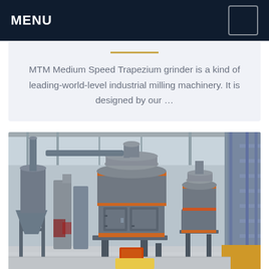MENU
MTM Medium Speed Trapezium grinder is a kind of leading-world-level industrial milling machinery. It is designed by our …
[Figure (photo): Industrial photo of MTM Medium Speed Trapezium grinder machines in a large factory/warehouse setting. Two large grey cylindrical grinding mill units are visible with orange accent bands, along with a cyclone dust collector on the left. The machines are on a concrete floor under a metal-roofed industrial building. A yellow/gold rectangular element is visible in the bottom right corner.]